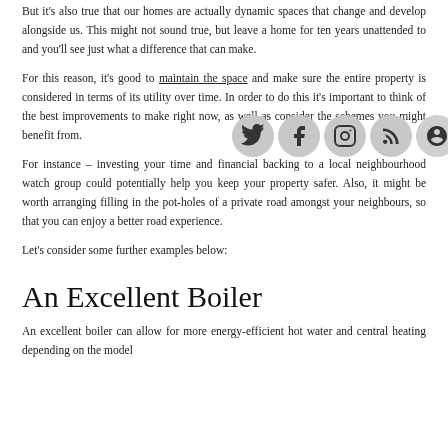But it's also true that our homes are actually dynamic spaces that change and develop alongside us. This might not sound true, but leave a home for ten years unattended to and you'll see just what a difference that can make.
For this reason, it's good to maintain the space and make sure the entire property is considered in terms of its utility over time. In order to do this it's important to think of the best improvements to make right now, as well as consider the schemes you might benefit from.
For instance – investing your time and financial backing to a local neighbourhood watch group could potentially help you keep your property safer. Also, it might be worth arranging filling in the pot-holes of a private road amongst your neighbours, so that you can enjoy a better road experience.
Let's consider some further examples below:
An Excellent Boiler
An excellent boiler can allow for more energy-efficient hot water and central heating depending on the model